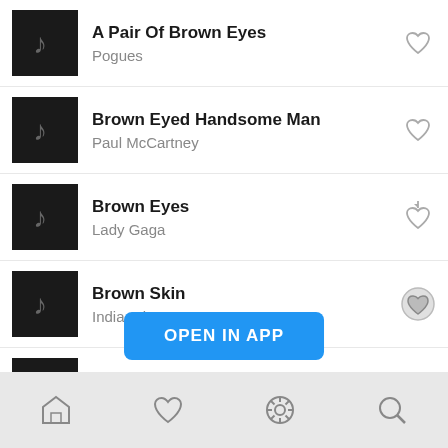A Pair Of Brown Eyes — Pogues
Brown Eyed Handsome Man — Paul McCartney
Brown Eyes — Lady Gaga
Brown Skin — India Arie
Buy It In Bottles — Ashcroft Richard
OPEN IN APP
Home | Favorites | Settings | Search